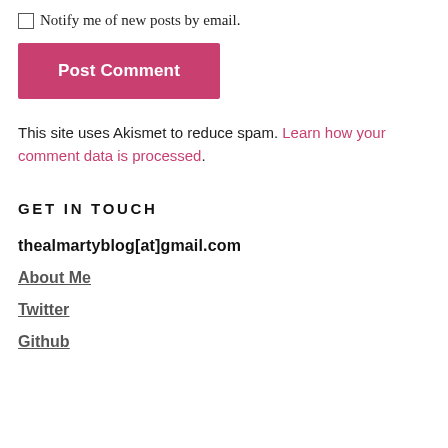Notify me of new posts by email.
Post Comment
This site uses Akismet to reduce spam. Learn how your comment data is processed.
GET IN TOUCH
thealmartyblog[at]gmail.com
About Me
Twitter
Github